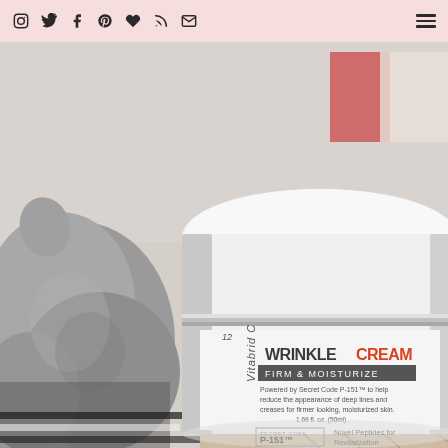Social media icons bar with Instagram, Twitter, Facebook, Pinterest, Heart/Bloglovin, RSS, Email icons on left; hamburger menu on right
[Figure (photo): Close-up photo of a white jar of Vitabrid C12 Wrinkle Cream (Firm & Moisturize) with label showing Secret Code P-151 branding, sitting on a surface with a grey textured cloth/cat in the background]